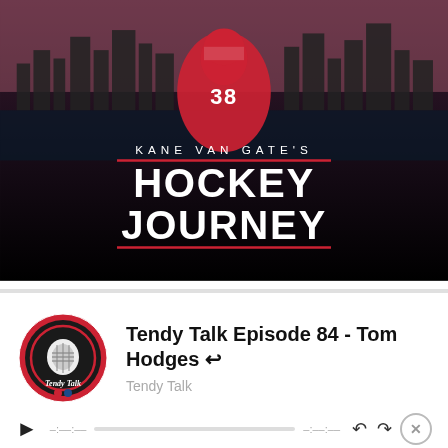[Figure (illustration): Kane Van Gate's Hockey Journey movie/show promotional image with a hockey player wearing jersey number 38 in front of a city skyline. Bold white text reads 'KANE VAN GATE'S HOCKEY JOURNEY' on a dark background.]
[Figure (logo): Tendy Talk podcast circular logo with red and black design featuring a hockey goalie mask.]
Tendy Talk Episode 84 - Tom Hodges ⇢
Tendy Talk
Advertisements
[Figure (illustration): Jetpack advertisement banner with green background, Jetpack logo on the left, and a 'Back up your site' button on the right.]